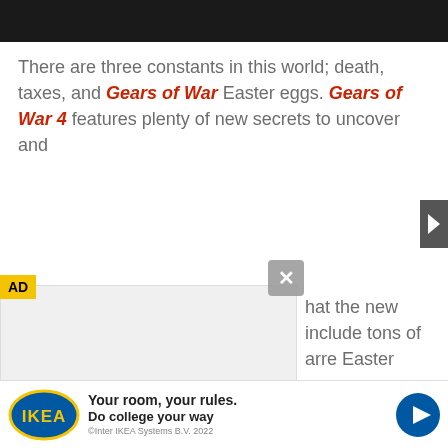[Figure (other): Black header bar at top of page]
There are three constants in this world; death, taxes, and Gears of War Easter eggs. Gears of War 4 features plenty of new secrets to uncover and ...hat the new ...include tons of ...arre Easter eggs ...ed plenty, so join ...ng worth sharing ...dance of Easter ...e only just recently discovered. If there's even a fraction of the secre... ...k about... ...us a
[Figure (other): AD badge yellow label and gray overlay ad unit with close X button covering middle portion of page]
[Figure (other): IKEA advertisement banner at bottom: Your room, your rules. Do college your way. Enter IKEA Systems B.V. 2022. Blue play button on right.]